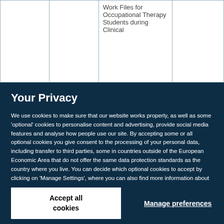|  |  | Work Files for Occupational Therapy Students during Clinical |  |
Your Privacy
We use cookies to make sure that our website works properly, as well as some ‘optional’ cookies to personalise content and advertising, provide social media features and analyse how people use our site. By accepting some or all optional cookies you give consent to the processing of your personal data, including transfer to third parties, some in countries outside of the European Economic Area that do not offer the same data protection standards as the country where you live. You can decide which optional cookies to accept by clicking on ‘Manage Settings’, where you can also find more information about how your personal data is processed. Further information can be found in our privacy policy.
Accept all cookies
Manage preferences